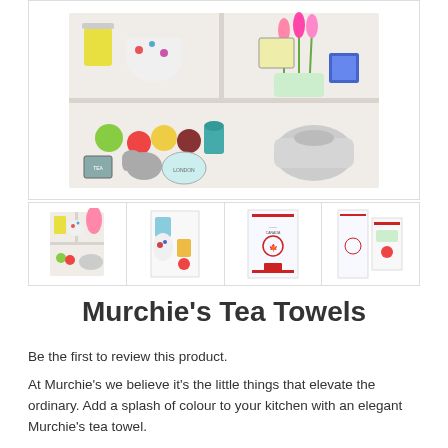[Figure (photo): Main product image showing a tea towel with illustrated shelf containing colourful tea pots, cups, tulips, fruits, and a kettle arranged on shelves]
[Figure (photo): Four thumbnail images of different Murchie's tea towel designs including the shelf design, a blue/red detailed design, a Canada-themed towel, and another variant]
Murchie's Tea Towels
Be the first to review this product.
At Murchie's we believe it's the little things that elevate the ordinary. Add a splash of colour to your kitchen with an elegant Murchie's tea towel.